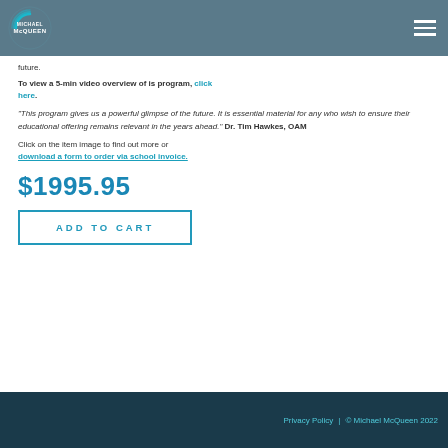Michael McQueen
future.
To view a 5-min video overview of is program, click here.
"This program gives us a powerful glimpse of the future. It is essential material for any who wish to ensure their educational offering remains relevant in the years ahead." Dr. Tim Hawkes, OAM
Click on the item image to find out more or download a form to order via school invoice.
$1995.95
ADD TO CART
Privacy Policy | © Michael McQueen 2022